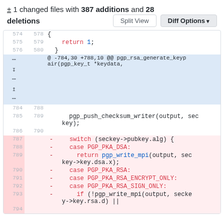± 1 changed files with 387 additions and 28 deletions
[Figure (screenshot): GitHub-style code diff view showing file changes with line numbers, added/removed lines highlighted in red/blue, with Split View and Diff Options buttons. Code shows pgp_rsa_generate_keypair function changes with switch statement being removed (lines 787-793+).]